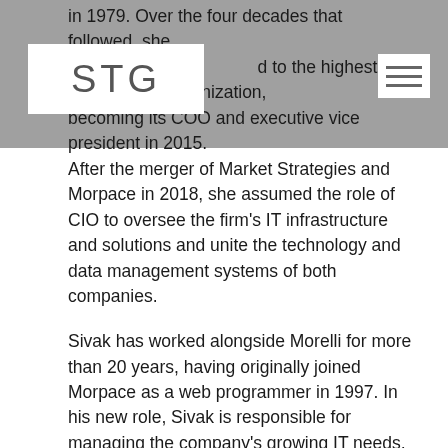in 1979. Over the four decades that followed, she rose to the highest levels of the organization, becoming its COO and executive vice president in 2015.
After the merger of Market Strategies and Morpace in 2018, she assumed the role of CIO to oversee the firm's IT infrastructure and solutions and unite the technology and data management systems of both companies.
Sivak has worked alongside Morelli for more than 20 years, having originally joined Morpace as a web programmer in 1997. In his new role, Sivak is responsible for managing the company's growing IT needs, supporting new product development with technology solutions and providing guidance and technical strategy to company leadership. He will also serve as a member of Escalent's executive committee. Sivak earned a bachelor's degree in computer engineering from the University of Michigan